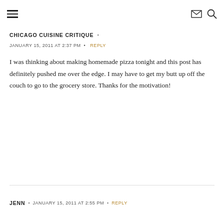☰ [menu icon] [mail icon] [search icon]
CHICAGO CUISINE CRITIQUE  ·
JANUARY 15, 2011 AT 2:37 PM  •  REPLY
I was thinking about making homemade pizza tonight and this post has definitely pushed me over the edge. I may have to get my butt up off the couch to go to the grocery store. Thanks for the motivation!
JENN  •  JANUARY 15, 2011 AT 2:55 PM  •  REPLY